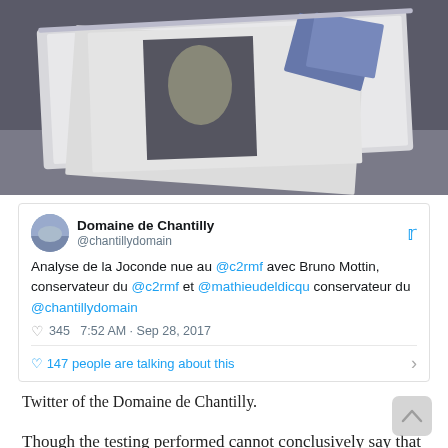[Figure (photo): Photo of printed papers/photographs laid on a light box or scanner table, showing what appears to be a portrait of a face (possibly the Mona Lisa) among the papers]
[Figure (screenshot): Screenshot of a tweet from @chantillydomain (Domaine de Chantilly) reading: 'Analyse de la Joconde nue au @c2rmf avec Bruno Mottin, conservateur du @c2rmf et @mathieudeldicqu conservateur du @chantillydomain' with 345 likes at 7:52 AM - Sep 28, 2017, and a reply count showing '147 people are talking about this']
Twitter of the Domaine de Chantilly.
Though the testing performed cannot conclusively say that the work was done by da Vinci, new components studied by researchers have greatly increased the probability that he did the work. During earlier